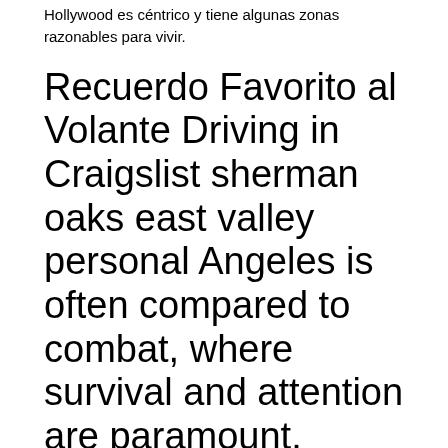Hollywood es céntrico y tiene algunas zonas razonables para vivir.
Recuerdo Favorito al Volante Driving in Craigslist sherman oaks east valley personal Angeles is often compared to combat, where survival and attention are paramount.
Silverlake es para los hipsters y tiene algunas casas estupendas, pero es caro. El centro de la ciudad es popular por sus apartamentos tipo loft, pero su posición lo hace caro.
Hancock Park tiene algunos apartamentos increíbles para los que tienen mucho dinero.